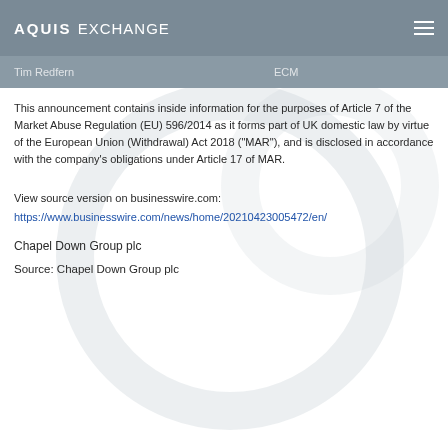AQUIS EXCHANGE
Tim Redfern   ECM
This announcement contains inside information for the purposes of Article 7 of the Market Abuse Regulation (EU) 596/2014 as it forms part of UK domestic law by virtue of the European Union (Withdrawal) Act 2018 ("MAR"), and is disclosed in accordance with the company's obligations under Article 17 of MAR.
View source version on businesswire.com:
https://www.businesswire.com/news/home/20210423005472/en/
Chapel Down Group plc
Source: Chapel Down Group plc